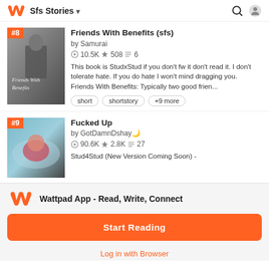Sfs Stories
Friends With Benefits (sfs)
by Samurai
10.5K 508 6
This book is StudxStud if you don't fw it don't read it. I don't tolerate hate. If you do hate I won't mind dragging you. Friends With Benefits: Typically two good frien...
short
shortstory
+9 more
Fucked Up
by GotDamnDshay🌙
90.6K 2.8K 27
Stud4Stud (New Version Coming Soon) -
Wattpad App - Read, Write, Connect
Start Reading
Log in with Browser